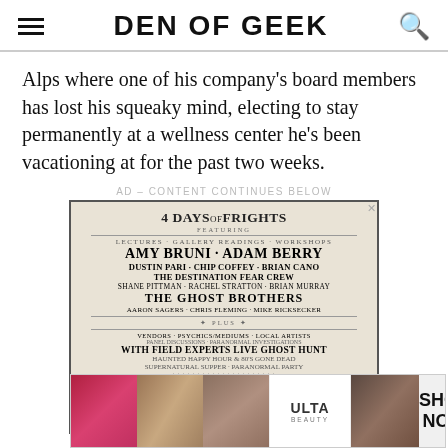DEN OF GEEK
Alps where one of his company's board members has lost his squeaky mind, electing to stay permanently at a wellness center he's been vacationing at for the past two weeks.
AD – CONTENT CONTINUES BELOW
[Figure (photo): Advertisement for Hauntlanta Paranormal Convention featuring '4 Days of Frights' with listed speakers including Amy Bruni, Adam Berry, Dustin Pari, Chip Coffey, Brian Cano, The Destination Fear Crew, Shane Pittman, Rachel Stratton, Brian Murray, The Ghost Brothers, Aaron Sagers, Chris Fleming, Mike Ricksecker. Plus Live Ghost Hunt and other events. Large green text reads HAUNTLANTA PARANORMAL CONVENTION.]
[Figure (photo): Bottom banner advertisement for Ulta Beauty showing makeup/cosmetics imagery with SHOP NOW call to action.]